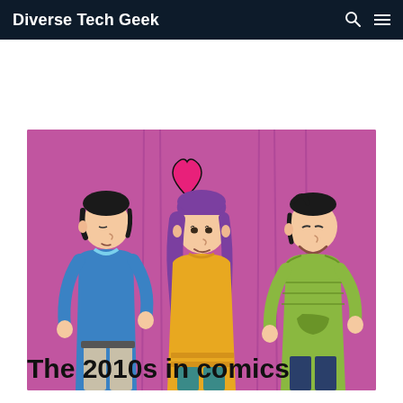Diverse Tech Geek
[Figure (illustration): Comic-style illustration on a pink/magenta background showing three cartoon characters: a boy on the left in a blue sweater with eyes closed, a girl in the center with long purple hair and a yellow sweater with a pink heart floating above her head, and a smiling boy on the right in a green hoodie.]
The 2010s in comics